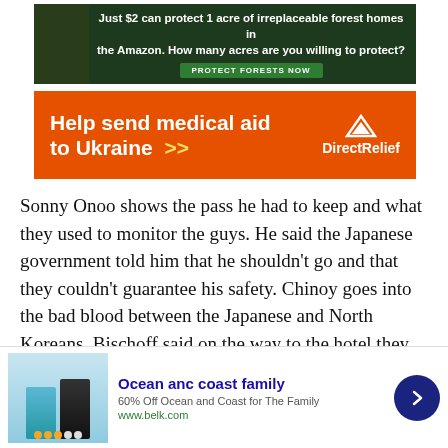[Figure (other): Forest conservation advertisement: 'Just $2 can protect 1 acre of irreplaceable forest homes in the Amazon. How many acres are you willing to protect?' with a green 'Protect Forests Now' button over a dark forest background.]
[Figure (other): Direct Relief orange advertisement banner: 'Help send medical aid to Ukraine >>' with Direct Relief logo on the right.]
Sonny Onoo shows the pass he had to keep and what they used to monitor the guys. He said the Japanese government told him that he shouldn’t go and that they couldn’t guarantee his safety. Chinoy goes into the bad blood between the Japanese and North Koreans. Bischoff said on the way to the hotel they had to show honor to the deceased former leader Kim Il-sung. They were forced to walk up the steps and put bouquets of flowers at the foot of the statue and of course this presented to the people as these Westerns held the Kim
[Figure (other): Bottom advertisement: 'Ocean anc coast family' - 60% Off Ocean and Coast for The Family at www.belk.com, with clothing image and blue arrow navigation button.]